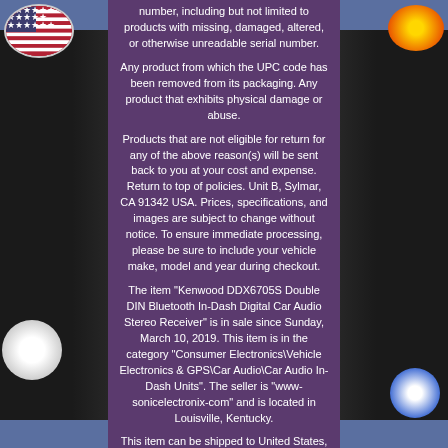number, including but not limited to products with missing, damaged, altered, or otherwise unreadable serial number.
Any product from which the UPC code has been removed from its packaging. Any product that exhibits physical damage or abuse.
Products that are not eligible for return for any of the above reason(s) will be sent back to you at your cost and expense. Return to top of policies. Unit B, Sylmar, CA 91342 USA. Prices, specifications, and images are subject to change without notice. To ensure immediate processing, please be sure to include your vehicle make, model and year during checkout.
The item "Kenwood DDX6705S Double DIN Bluetooth In-Dash Digital Car Audio Stereo Receiver" is in sale since Sunday, March 10, 2019. This item is in the category "Consumer Electronics\Vehicle Electronics & GPS\Car Audio\Car Audio In-Dash Units". The seller is "www-sonicelectronix-com" and is located in Louisville, Kentucky.
This item can be shipped to United States, Canada, United Kingdom, Denmark, Romania, Slovakia,